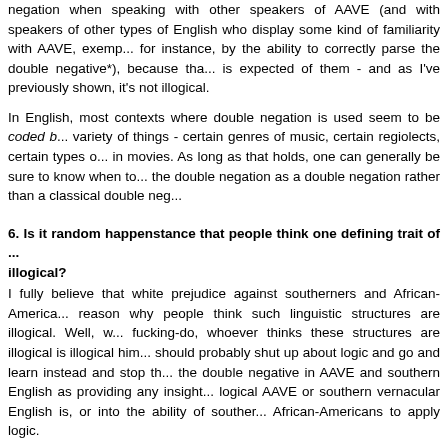negation when speaking with other speakers of AAVE (and with speakers of other types of English who display some kind of familiarity with AAVE, exemplified, for instance, by the ability to correctly parse the double negative*), because that is what is expected of them - and as I've previously shown, it's not illogical.
In English, most contexts where double negation is used seem to be coded by a variety of things - certain genres of music, certain regiolects, certain types of characters in movies. As long as that holds, one can generally be sure to know when to parse the double negation as a double negation rather than a classical double neg...
6. Is it random happenstance that people think one defining trait of ... is illogical?
I fully believe that white prejudice against southerners and African-Americans is a reason why people think such linguistic structures are illogical. Well, w... fucking-do, whoever thinks these structures are illogical is illogical him... should probably shut up about logic and go and learn instead and stop th... the double negative in AAVE and southern English as providing any insight... logical AAVE or southern vernacular English is, or into the ability of souther... African-Americans to apply logic.
Recent years have really shown how willing people are to throw "facts a... around with barely any ability to apply logic. There's in particular a rather shi... of people who browbeat people all around with "facts and logic" - but I am c... this is not just a result of them being scum - it's a result of us not only tolera... logic, but nurturing bad logic in the belief that it is good logic. Let's fu... logical, take back logic from those who would defile it in such a way, and ... excise bad logic from our thinking.